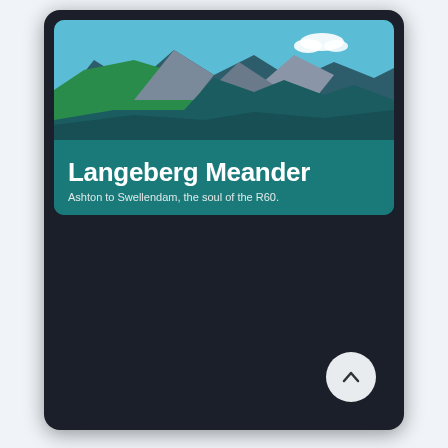[Figure (illustration): Mobile app card UI showing Langeberg Meander. Dark background with a card featuring a stylized mountain landscape illustration (green hills, grey rocky peaks, blue sky with white clouds) above a teal background with white title text and subtitle. A circular scroll-up button in the bottom right.]
Langeberg Meander
Ashton to Swellendam, the soul of the R60.